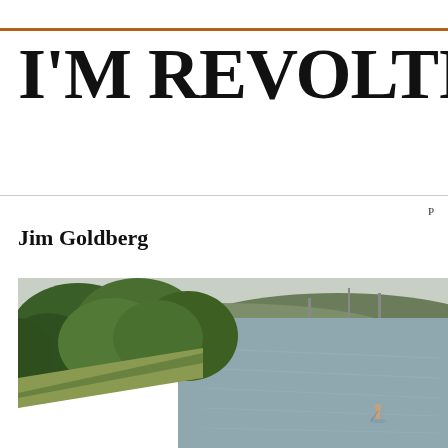I'M REVOLTING
Jim Goldberg
[Figure (photo): Aerial/elevated view of a river bend with lush green trees lining a concrete embankment on the left, a wide river on the right, and a single person standing on a paddleboard or similar on the water in the lower right. Hills and industrial structures visible in the background under a hazy sky.]